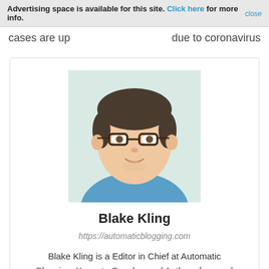Advertising space is available for this site. Click here for more info. close
cases are up                    due to coronavirus
[Figure (illustration): Cartoon avatar illustration of a man with dark hair and glasses wearing a blue shirt, on a light green background.]
Blake Kling
https://automaticblogging.com
Blake Kling is a Editor in Chief at Automatic Blogging. Keynote Speaker and Author of several books. Lives in Michigan. Science and Tech enthusiast.
RELATED ARTICLES   MORE FROM AUTHOR